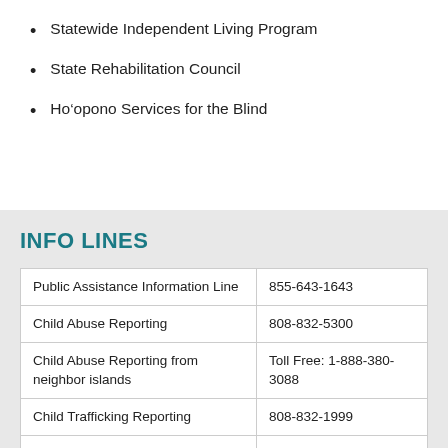Statewide Independent Living Program
State Rehabilitation Council
Ho‘opono Services for the Blind
INFO LINES
|  |  |
| --- | --- |
| Public Assistance Information Line | 855-643-1643 |
| Child Abuse Reporting | 808-832-5300 |
| Child Abuse Reporting from neighbor islands | Toll Free: 1-888-380-3088 |
| Child Trafficking Reporting | 808-832-1999 |
| Child Trafficking Reporting from neighbor islands | Toll Free: 1-888-398-1188 |
| Adult Abuse Reporting | 808-832-5115 |